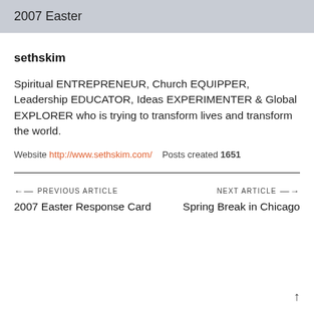2007 Easter
sethskim
Spiritual ENTREPRENEUR, Church EQUIPPER, Leadership EDUCATOR, Ideas EXPERIMENTER & Global EXPLORER who is trying to transform lives and transform the world.
Website http://www.sethskim.com/   Posts created 1651
← PREVIOUS ARTICLE
2007 Easter Response Card
NEXT ARTICLE →
Spring Break in Chicago